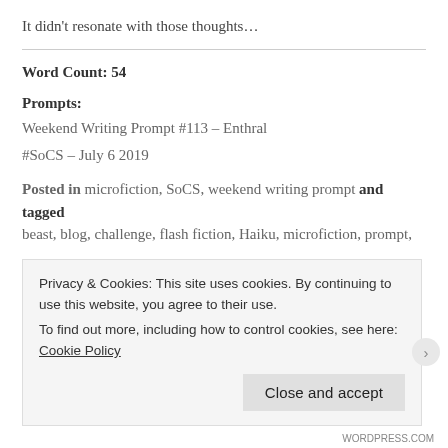It didn’t resonate with those thoughts…
Word Count: 54
Prompts:
Weekend Writing Prompt #113 – Enthral
#SoCS – July 6 2019
Posted in microfiction, SoCS, weekend writing prompt and tagged beast, blog, challenge, flash fiction, Haiku, microfiction, prompt,
Privacy & Cookies: This site uses cookies. By continuing to use this website, you agree to their use.
To find out more, including how to control cookies, see here: Cookie Policy
Close and accept